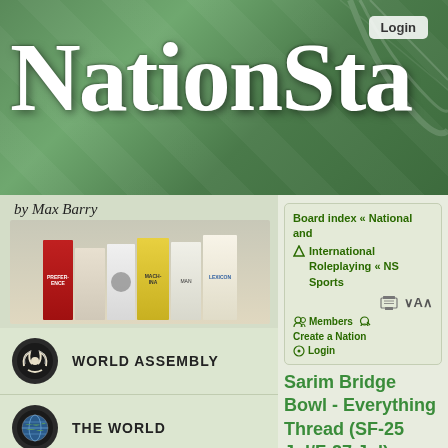[Figure (screenshot): NationStates website header banner with green background and large white logo text 'NATIONSTA' with Login button]
by Max Barry
[Figure (illustration): Row of book covers by Max Barry]
WORLD ASSEMBLY
THE WORLD
DISPATCHES
STORE
HELP
NEWS
Latest Forum Topics
Board index « National and International Roleplaying « NS Sports
Members   Create a Nation   Login
Sarim Bridge Bowl - Everything Thread (SF-25 Jul/F-27 Jul)
POSTREPLY
34 posts • Page 1 of 2 • 1  2
QUOTE   Sarim